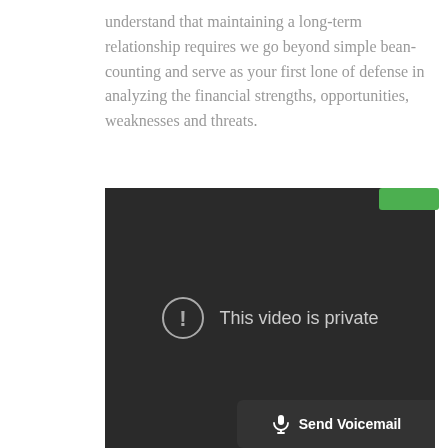understand that maintaining a long-term relationship requires we go beyond simple bean-counting and serve as your first lone of defense in analyzing the financial strengths, opportunities, weaknesses and threats.
[Figure (screenshot): Dark video player embed showing 'This video is private' message with a circle-exclamation icon, and a 'Send Voicemail' button overlay at the bottom right.]